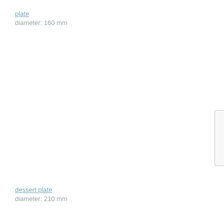plate
diameter: 160 mm
dessert plate
diameter: 210 mm